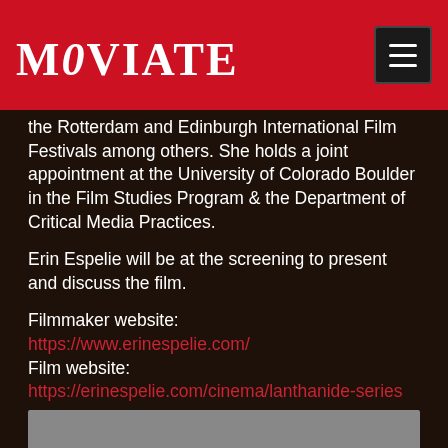MOVIATE
the Rotterdam and Edinburgh International Film Festivals among others. She holds a joint appointment at the University of Colorado Boulder in the Film Studies Program & the Department of Critical Media Practices.
Erin Espelie will be at the screening to present and discuss the film.
Filmmaker website:
https://www.erinespelie.com/
Film website:
https://erinespelie.com/cinema/lanthanide-series